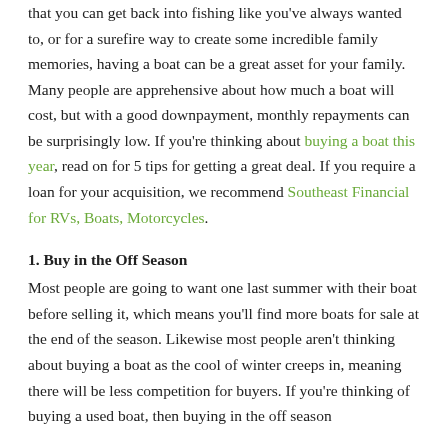that you can get back into fishing like you've always wanted to, or for a surefire way to create some incredible family memories, having a boat can be a great asset for your family. Many people are apprehensive about how much a boat will cost, but with a good downpayment, monthly repayments can be surprisingly low. If you're thinking about buying a boat this year, read on for 5 tips for getting a great deal. If you require a loan for your acquisition, we recommend Southeast Financial for RVs, Boats, Motorcycles.
1. Buy in the Off Season
Most people are going to want one last summer with their boat before selling it, which means you'll find more boats for sale at the end of the season. Likewise most people aren't thinking about buying a boat as the cool of winter creeps in, meaning there will be less competition for buyers. If you're thinking of buying a used boat, then buying in the off season